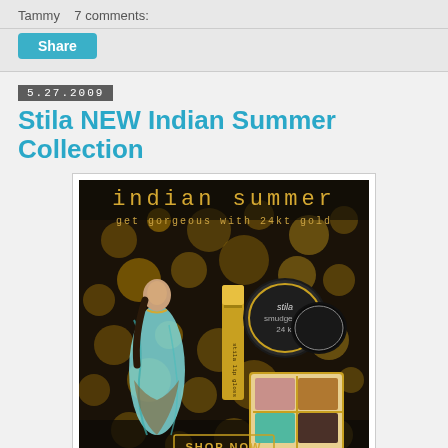Tammy   7 comments:
Share
5.27.2009
Stila NEW Indian Summer Collection
[Figure (photo): Stila Indian Summer makeup collection advertisement featuring a woman in a blue sari, gold bokeh background, smudge pot, lip gloss, and eyeshadow quad with 'SHOP NOW' button. Text reads: indian summer - get gorgeous with 24kt gold]